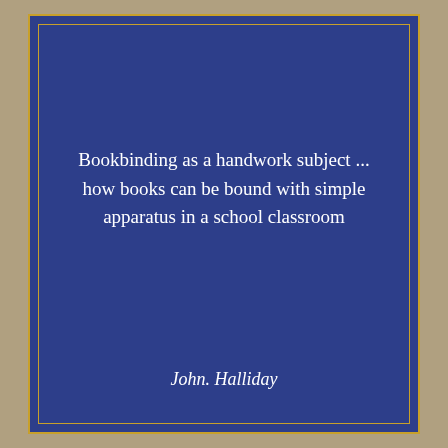Bookbinding as a handwork subject ... how books can be bound with simple apparatus in a school classroom
John. Halliday